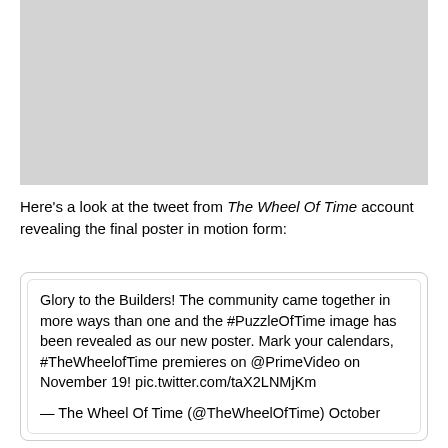[Figure (photo): Grey placeholder image area at the top of the page]
Here's a look at the tweet from The Wheel Of Time account revealing the final poster in motion form:
Glory to the Builders! The community came together in more ways than one and the #PuzzleOfTime image has been revealed as our new poster. Mark your calendars, #TheWheelofTime premieres on @PrimeVideo on November 19! pic.twitter.com/taX2LNMjKm

— The Wheel Of Time (@TheWheelOfTime) October